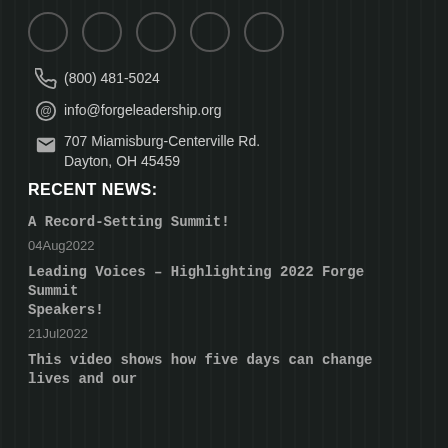(800) 481-5024
info@forgeleadership.org
707 Miamisburg-Centerville Rd. Dayton, OH 45459
RECENT NEWS:
A Record-Setting Summit!
04Aug2022
Leading Voices – Highlighting 2022 Forge Summit Speakers!
21Jul2022
This video shows how five days can change lives and our